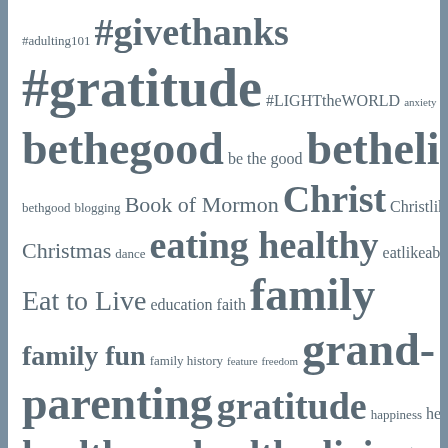[Figure (other): Word cloud with tags related to gratitude, kindness, family, health, religion (LDS/Book of Mormon), and lifestyle topics. Words are displayed in varying sizes indicating frequency/importance, in shades of gray on white background with gray side borders.]